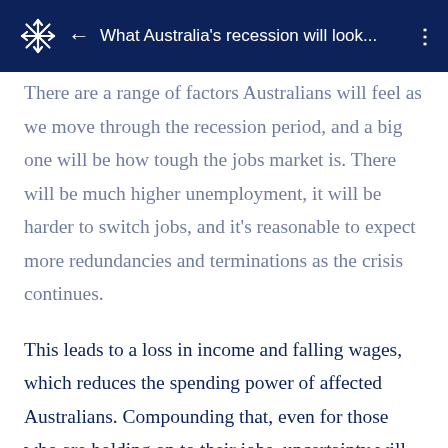What Australia's recession will look...
There are a range of factors Australians will feel as we move through the recession period, and a big one will be how tough the jobs market is. There will be much higher unemployment, it will be harder to switch jobs, and it's reasonable to expect more redundancies and terminations as the crisis continues.
This leads to a loss in income and falling wages, which reduces the spending power of affected Australians. Compounding that, even for those who are holding on to their jobs, uncertainty will rise — people worry about the future, they worry